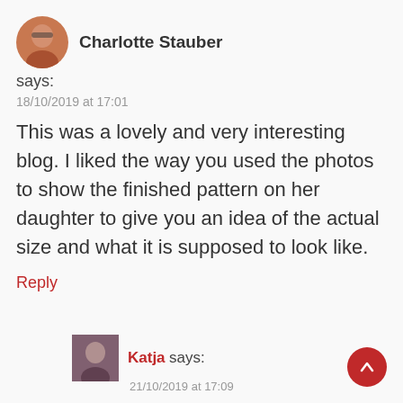[Figure (photo): Avatar photo of Charlotte Stauber, a woman with reddish-brown hair and glasses]
Charlotte Stauber
says:
18/10/2019 at 17:01
This was a lovely and very interesting blog. I liked the way you used the photos to show the finished pattern on her daughter to give you an idea of the actual size and what it is supposed to look like.
Reply
[Figure (photo): Avatar photo of Katja, a woman with dark hair]
Katja says:
21/10/2019 at 17:09